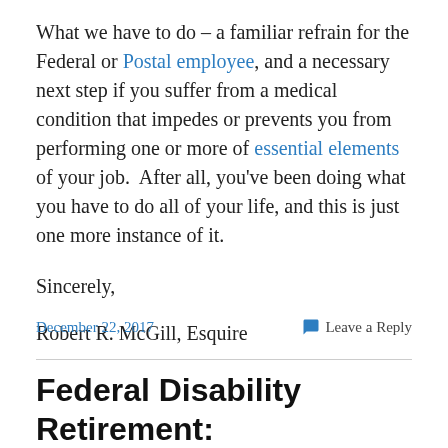What we have to do – a familiar refrain for the Federal or Postal employee, and a necessary next step if you suffer from a medical condition that impedes or prevents you from performing one or more of essential elements of your job.  After all, you've been doing what you have to do all of your life, and this is just one more instance of it.
Sincerely,
Robert R. McGill, Esquire
December 22, 2017   Leave a Reply
Federal Disability Retirement: